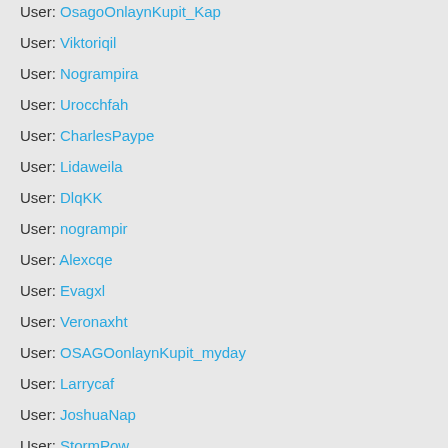User: OsagoOnlaynKupit_Kap
User: Viktoriqil
User: Nogrampira
User: Urocchfah
User: CharlesPaype
User: Lidaweila
User: DlqKK
User: nogrampir
User: Alexcqe
User: Evagxl
User: Veronaxht
User: OSAGOonlaynKupit_myday
User: Larrycaf
User: JoshuaNap
User: StormPow